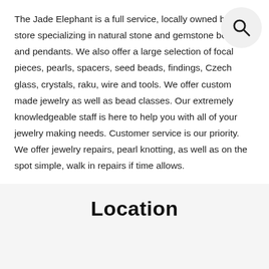The Jade Elephant is a full service, locally owned bead store specializing in natural stone and gemstone beads and pendants. We also offer a large selection of focal pieces, pearls, spacers, seed beads, findings, Czech glass, crystals, raku, wire and tools. We offer custom made jewelry as well as bead classes. Our extremely knowledgeable staff is here to help you with all of your jewelry making needs. Customer service is our priority. We offer jewelry repairs, pearl knotting, as well as on the spot simple, walk in repairs if time allows.
We appreciate you! #xoxojadeelephant
Location